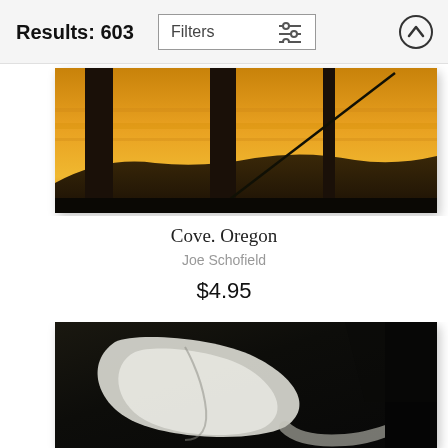Results: 603
[Figure (photo): Partial UI screenshot showing Filters button with sliders icon and an up-arrow circle button in the page header]
[Figure (photo): Landscape photo of a sunset with silhouetted vertical structures (poles/pillars) and a diagonal line (wire/rod) against an orange sky, hills in background]
Cove. Oregon
Joe Schofield
$4.95
[Figure (photo): Dark, moody close-up photograph of what appears to be a calla lily or similar curved white flower/object against a very dark background]